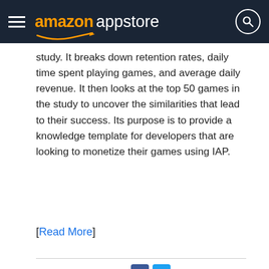amazon appstore
study. It breaks down retention rates, daily time spent playing games, and average daily revenue. It then looks at the top 50 games in the study to uncover the similarities that lead to their success. Its purpose is to provide a knowledge template for developers that are looking to monetize their games using IAP.
[Read More]
Permalink | Share
Building Retroids with GameMaker: Studio – Part 8: Adding Leaderboards
October 14, 2016
Jon Pulsipher